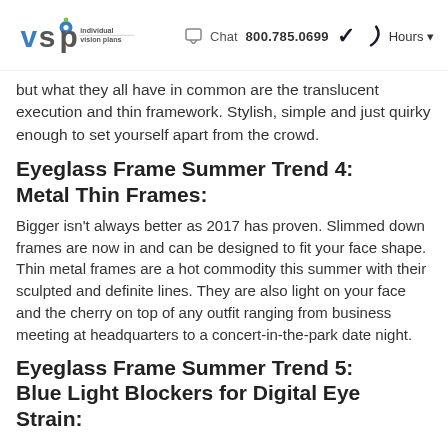VSP Individual Vision Plans | Chat 800.785.0699 Hours
but what they all have in common are the translucent execution and thin framework. Stylish, simple and just quirky enough to set yourself apart from the crowd.
Eyeglass Frame Summer Trend 4: Metal Thin Frames:
Bigger isn't always better as 2017 has proven. Slimmed down frames are now in and can be designed to fit your face shape. Thin metal frames are a hot commodity this summer with their sculpted and definite lines. They are also light on your face and the cherry on top of any outfit ranging from business meeting at headquarters to a concert-in-the-park date night.
Eyeglass Frame Summer Trend 5: Blue Light Blockers for Digital Eye Strain: